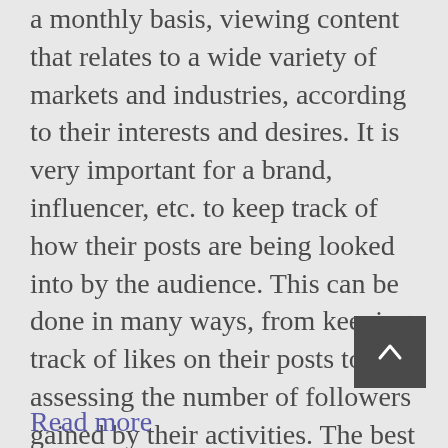a monthly basis, viewing content that relates to a wide variety of markets and industries, according to their interests and desires. It is very important for a brand, influencer, etc. to keep track of how their posts are being looked into by the audience. This can be done in many ways, from keeping track of likes on their posts to assessing the number of followers gained by their activities. The best way to assess an account's success is by analyzing the number of engagements it achieves on its posts since it is a more authentic way of analyzing an individual post's performance.
Read more